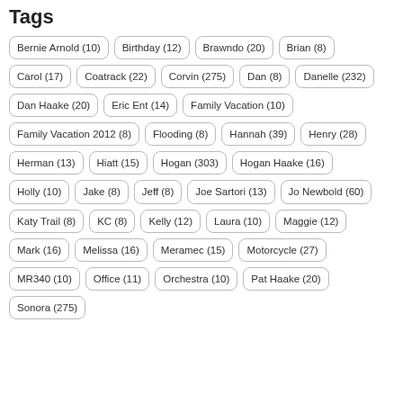Tags
Bernie Arnold (10)
Birthday (12)
Brawndo (20)
Brian (8)
Carol (17)
Coatrack (22)
Corvin (275)
Dan (8)
Danelle (232)
Dan Haake (20)
Eric Ent (14)
Family Vacation (10)
Family Vacation 2012 (8)
Flooding (8)
Hannah (39)
Henry (28)
Herman (13)
Hiatt (15)
Hogan (303)
Hogan Haake (16)
Holly (10)
Jake (8)
Jeff (8)
Joe Sartori (13)
Jo Newbold (60)
Katy Trail (8)
KC (8)
Kelly (12)
Laura (10)
Maggie (12)
Mark (16)
Melissa (16)
Meramec (15)
Motorcycle (27)
MR340 (10)
Office (11)
Orchestra (10)
Pat Haake (20)
Sonora (275)